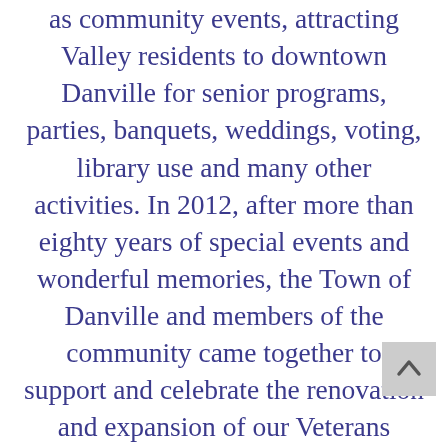as community events, attracting Valley residents to downtown Danville for senior programs, parties, banquets, weddings, voting, library use and many other activities. In 2012, after more than eighty years of special events and wonderful memories, the Town of Danville and members of the community came together to support and celebrate the renovation and expansion of our Veterans Memorial Building.
GOOD NEWS: The VMB is open